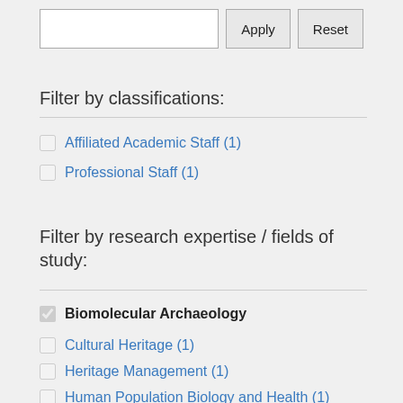Filter by classifications:
Affiliated Academic Staff (1)
Professional Staff (1)
Filter by research expertise / fields of study:
Biomolecular Archaeology (checked)
Cultural Heritage (1)
Heritage Management (1)
Human Population Biology and Health (1)
Human Population Genetics (1)